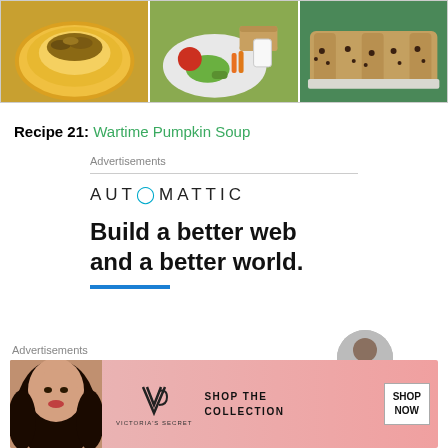[Figure (photo): Three food photos side by side: a plate with yellow sauce and crumble topping, a balanced meal plate with vegetables and milk glass, and sliced chocolate chip banana bread on green surface.]
Recipe 21: Wartime Pumpkin Soup
Advertisements
[Figure (logo): Automattic logo with teal O]
Build a better web and a better world.
Advertisements
[Figure (photo): Victoria's Secret advertisement banner with model, VS logo, SHOP THE COLLECTION text, and SHOP NOW button on pink background.]